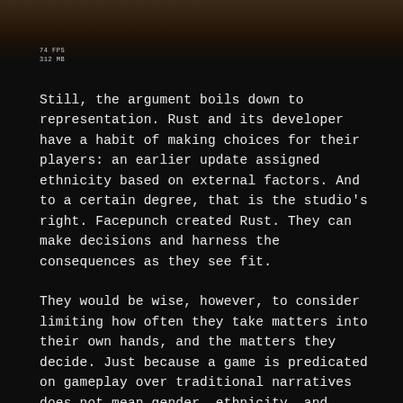[Figure (photo): Dark reddish-brown background image at the top of the page, appears to be a screenshot from the game Rust with foliage or terrain visible]
74 FPS
312 MB
Still, the argument boils down to representation. Rust and its developer have a habit of making choices for their players: an earlier update assigned ethnicity based on external factors. And to a certain degree, that is the studio's right. Facepunch created Rust. They can make decisions and harness the consequences as they see fit.
They would be wise, however, to consider limiting how often they take matters into their own hands, and the matters they decide. Just because a game is predicated on gameplay over traditional narratives does not mean gender, ethnicity, and related characteristics have no bearing on these games. To some players, gender is as important to them as the weapon they carry into Rust's